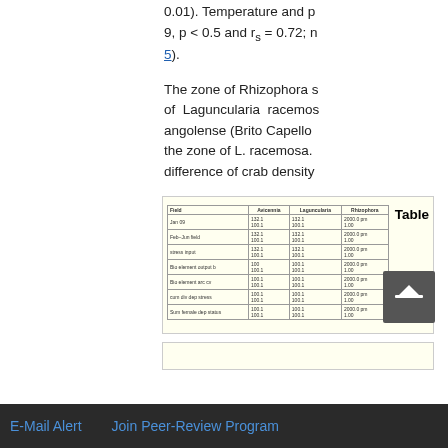0.01). Temperature and p 9, p < 0.5 and rs = 0.72; n 5).
The zone of Rhizophora s of Laguncularia racemos angolense (Brito Capello the zone of L. racemosa. difference of crab density
Top
ABSTRACT
Introduction
Materials and Methods
Results
Discussion
[Figure (table-as-image): Thumbnail image of a data table with multiple rows and columns showing numerical data, with a bold 'Table' label to the right]
E-Mail Alert    Join Peer-Review Program